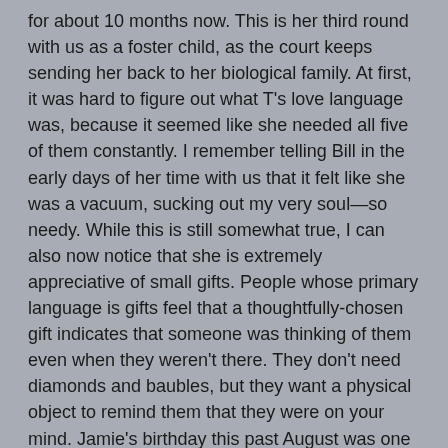for about 10 months now. This is her third round with us as a foster child, as the court keeps sending her back to her biological family. At first, it was hard to figure out what T's love language was, because it seemed like she needed all five of them constantly. I remember telling Bill in the early days of her time with us that it felt like she was a vacuum, sucking out my very soul—so needy. While this is still somewhat true, I can also now notice that she is extremely appreciative of small gifts. People whose primary language is gifts feel that a thoughtfully-chosen gift indicates that someone was thinking of them even when they weren't there. They don't need diamonds and baubles, but they want a physical object to remind them that they were on your mind. Jamie's birthday this past August was one of Teenasia's most difficult days with us. I think it was because all those gifts for Jamie and just one token present for Teenasia made her wonder about our love for her. I gave Teenasia a fortune cookie yesterday that I had leftover in my purse. You would have thought it was a certificate for a new bike.
Acts of Service: This is my mom's primary love language.